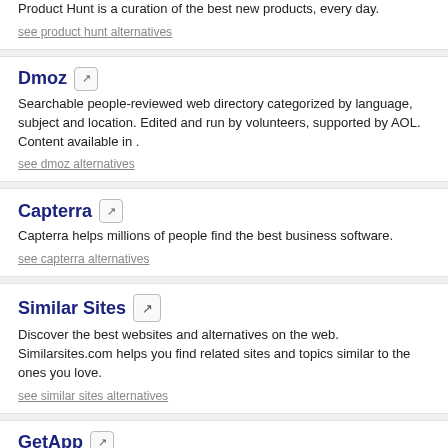Product Hunt is a curation of the best new products, every day.
see product hunt alternatives
Dmoz
Searchable people-reviewed web directory categorized by language, subject and location. Edited and run by volunteers, supported by AOL. Content available in .
see dmoz alternatives
Capterra
Capterra helps millions of people find the best business software.
see capterra alternatives
Similar Sites
Discover the best websites and alternatives on the web. Similarsites.com helps you find related sites and topics similar to the ones you love.
see similar sites alternatives
GetApp
Review, Compare and Evaluate small business software. GetApp has software offers, SaaS and Cloud Apps, independent evaluations and reviews.
see getapp alternatives
SiteJabber